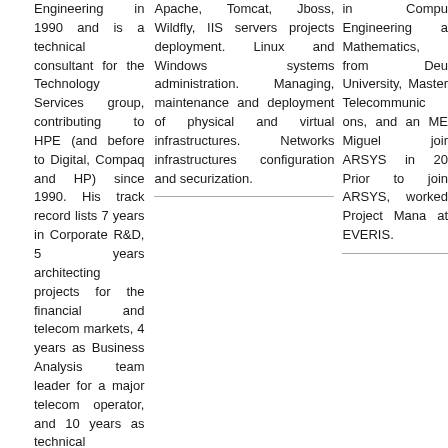Engineering in 1990 and is a technical consultant for the Technology Services group, contributing to HPE (and before to Digital, Compaq and HP) since 1990. His track record lists 7 years in Corporate R&D, 5 years architecting projects for the financial and telecom markets, 4 years as Business Analysis team leader for a major telecom operator, and 10 years as technical contributor to EC
Apache, Tomcat, Jboss, Wildfly, IIS servers projects deployment. Linux and Windows systems administration. Managing, maintenance and deployment of physical and virtual infrastructures. Networks infrastructures configuration and securization.
in Compu Engineering a Mathematics, from Deu University, Master Telecommunic ons, and an ME Miguel joir ARSYS in 20 Prior to join ARSYS, worked Project Mana at EVERIS.